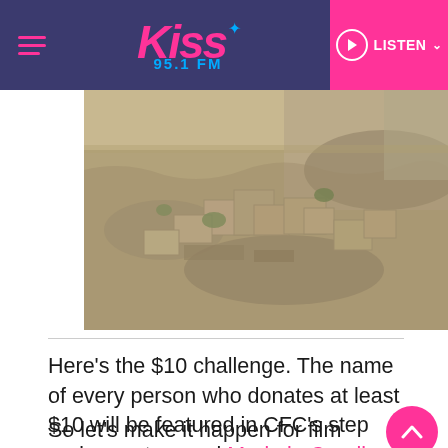Kiss 95.1 FM — LISTEN
[Figure (photo): Aerial view of flooded village with muddy water surrounding clay buildings and debris]
Here's the $10 challenge. The name of every person who donates at least $10 will be featured in CFC's step and repeat annual Made in Carolinas Film Event in September.
So let's make it happen for film makers! When you donate $10 or more before you know it